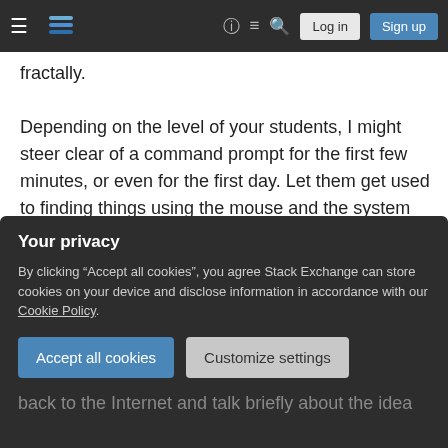Stack Exchange navigation bar with Log in and Sign up buttons
fractally.
Depending on the level of your students, I might steer clear of a command prompt for the first few minutes, or even for the first day. Let them get used to finding things using the mouse and the system GUI before entering into a CLI. The GUI allows them to see, and that is a big advantage right now.
Also, emphasize the why of it all at every step. Why are things in directories? Why are some directories
Your privacy
By clicking "Accept all cookies", you agree Stack Exchange can store cookies on your device and disclose information in accordance with our Cookie Policy.
back to the Internet and talk briefly about the idea of